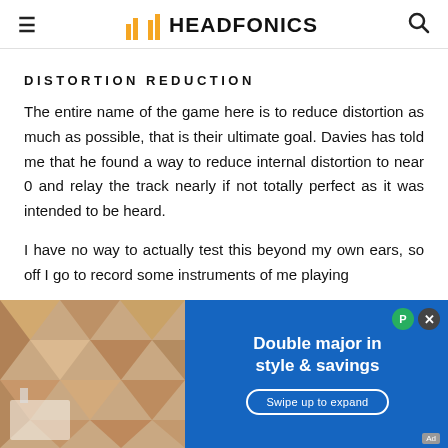≡  HF HEADFONICS  🔍
DISTORTION REDUCTION
The entire name of the game here is to reduce distortion as much as possible, that is their ultimate goal. Davies has told me that he found a way to reduce internal distortion to near 0 and relay the track nearly if not totally perfect as it was intended to be heard.
I have no way to actually test this beyond my own ears, so off I go to record some instruments of me playing… st th
[Figure (screenshot): Advertisement overlay at bottom of page: blue background with geometric-patterned image on left, text 'Double major in style & savings' and 'Swipe up to expand' button on right, close (×) and push-pin (P) buttons top right.]